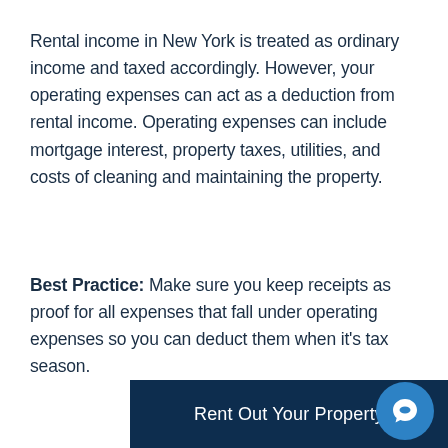Rental income in New York is treated as ordinary income and taxed accordingly. However, your operating expenses can act as a deduction from rental income. Operating expenses can include mortgage interest, property taxes, utilities, and costs of cleaning and maintaining the property.
Best Practice: Make sure you keep receipts as proof for all expenses that fall under operating expenses so you can deduct them when it's tax season.
Rent Out Your Property